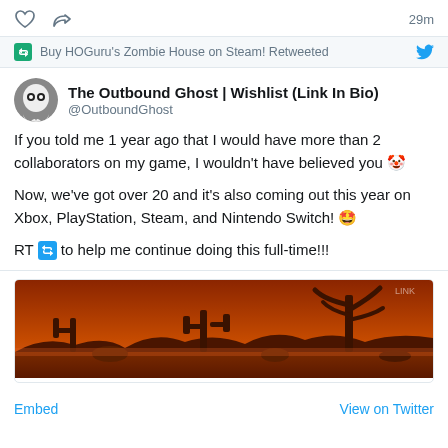[Figure (screenshot): Twitter/X UI top action bar with heart icon, retweet icon, and '29m' timestamp]
Buy HOGuru's Zombie House on Steam! Retweeted
The Outbound Ghost | Wishlist (Link In Bio) @OutboundGhost
If you told me 1 year ago that I would have more than 2 collaborators on my game, I wouldn't have believed you 🤡

Now, we've got over 20 and it's also coming out this year on Xbox, PlayStation, Steam, and Nintendo Switch! 🤩

RT 🔁 to help me continue doing this full-time!!!
[Figure (screenshot): Game screenshot showing a desert/western scene with warm orange-red tones, cacti and rock formations silhouetted against a reddish sky]
Embed    View on Twitter